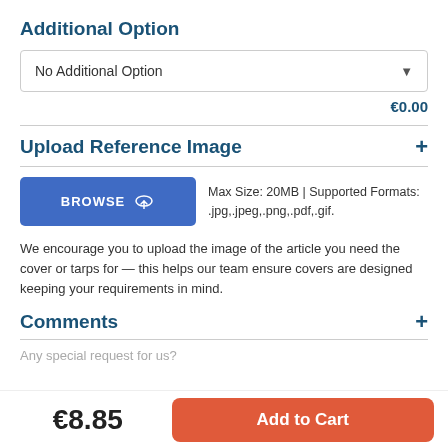Additional Option
[Figure (screenshot): Dropdown selector showing 'No Additional Option' with a down arrow]
€0.00
Upload Reference Image
[Figure (screenshot): BROWSE button with upload cloud icon, and text: Max Size: 20MB | Supported Formats: .jpg,.jpeg,.png,.pdf,.gif.]
We encourage you to upload the image of the article you need the cover or tarps for — this helps our team ensure covers are designed keeping your requirements in mind.
Comments
Any special request for us?
€8.85
Add to Cart